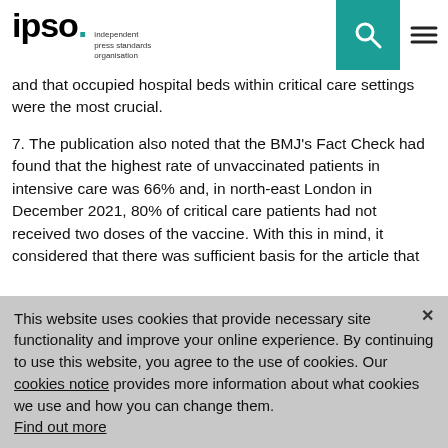ipso. independent press standards organisation
and that occupied hospital beds within critical care settings were the most crucial.
7. The publication also noted that the BMJ’s Fact Check had found that the highest rate of unvaccinated patients in intensive care was 66% and, in north-east London in December 2021, 80% of critical care patients had not received two doses of the vaccine. With this in mind, it considered that there was sufficient basis for the article that “seven out of 10 Covid-infected people taking up hospital beds” were not vaccinated.
8. While the publication did not accept that the “7 out of 10” reference was inaccurate, it did offer to amend the article as a gesture of goodwill to refer specifically to critical care beds, rather
This website uses cookies that provide necessary site functionality and improve your online experience. By continuing to use this website, you agree to the use of cookies. Our cookies notice provides more information about what cookies we use and how you can change them. Find out more